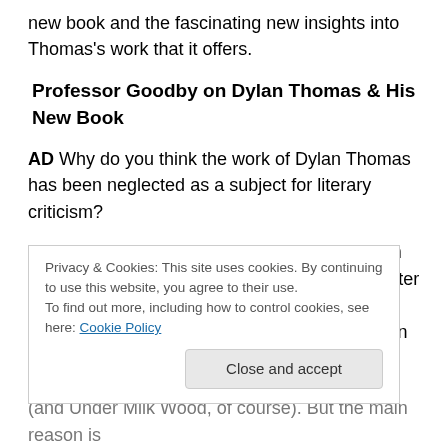new book and the fascinating new insights into Thomas's work that it offers.
Professor Goodby on Dylan Thomas & His New Book
AD Why do you think the work of Dylan Thomas has been neglected as a subject for literary criticism?
JG There are several reasons. First, he had an amazing amount of attention in the 20 years after his death, and it was bound to die down a little eventually. The people who had met and known him, and built their careers on his
(and Under Milk Wood, of course). But the main reason is